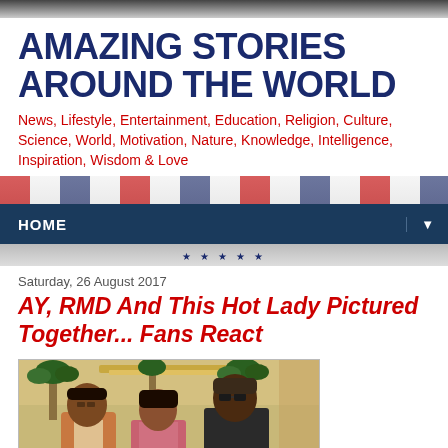AMAZING STORIES AROUND THE WORLD
News, Lifestyle, Entertainment, Education, Religion, Culture, Science, World, Motivation, Nature, Knowledge, Intelligence, Inspiration, Wisdom & Love
HOME
Saturday, 26 August 2017
AY, RMD And This Hot Lady Pictured Together... Fans React
[Figure (photo): Three people posing together indoors: a man in a brown/tan jacket on the left, a woman in the center, and an older man wearing glasses and a dark top on the right. Background shows palm trees and ornate decor suggesting a hotel or event venue.]